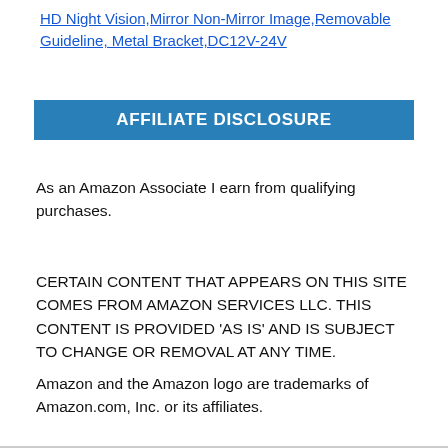HD Night Vision,Mirror Non-Mirror Image,Removable Guideline, Metal Bracket,DC12V-24V
AFFILIATE DISCLOSURE
As an Amazon Associate I earn from qualifying purchases.
CERTAIN CONTENT THAT APPEARS ON THIS SITE COMES FROM AMAZON SERVICES LLC. THIS CONTENT IS PROVIDED ‘AS IS’ AND IS SUBJECT TO CHANGE OR REMOVAL AT ANY TIME.
Amazon and the Amazon logo are trademarks of Amazon.com, Inc. or its affiliates.